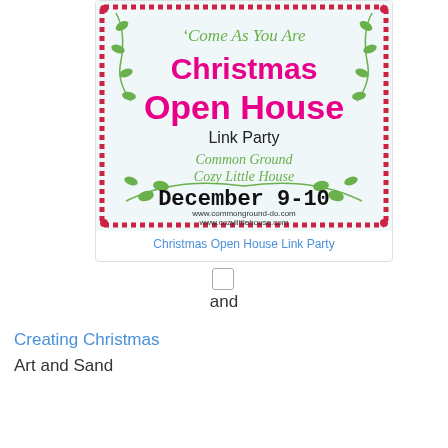[Figure (illustration): Christmas Open House Link Party invitation card with red candy-cane border, green vine decorations, pink and green text reading 'Come As You Are Christmas Open House Link Party, Common Ground, Cozy Little House, December 9-10, www.commonground-do.com, www.cozylittlehouse.com']
Christmas Open House Link Party
and
Creating Christmas
Art and Sand